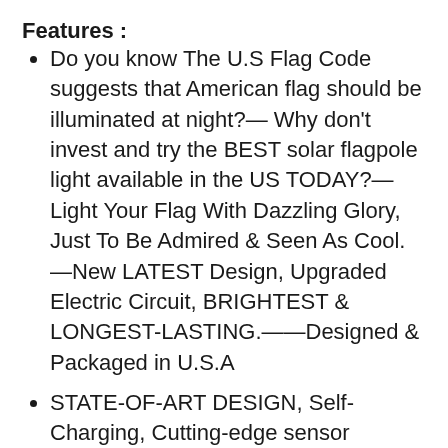Features :
Do you know The U.S Flag Code suggests that American flag should be illuminated at night?— Why don’t invest and try the BEST solar flagpole light available in the US TODAY?—Light Your Flag With Dazzling Glory, Just To Be Admired & Seen As Cool.—New LATEST Design, Upgraded Electric Circuit, BRIGHTEST & LONGEST-LASTING.——Designed & Packaged in U.S.A
STATE-OF-ART DESIGN, Self-Charging, Cutting-edge sensor equipped to detect the right time to Auto-Active Shinning When it Gets Dark. Easy